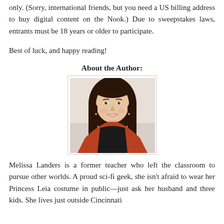only. (Sorry, international friends, but you need a US billing address to buy digital content on the Nook.) Due to sweepstakes laws, entrants must be 18 years or older to participate.
Best of luck, and happy reading!
About the Author:
[Figure (photo): Portrait photo of Melissa Landers, a woman with dark brown shoulder-length hair, smiling, wearing a rust/orange wrap and dark clothing, seated against a light background.]
Melissa Landers is a former teacher who left the classroom to pursue other worlds. A proud sci-fi geek, she isn't afraid to wear her Princess Leia costume in public—just ask her husband and three kids. She lives just outside Cincinnati